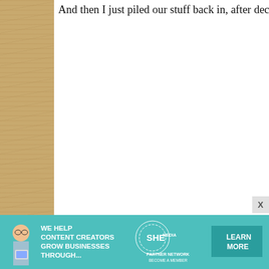And then I just piled our stuff back in, after decluttering a li
[Figure (photo): Open medicine cabinet with green floral wallpaper lining, showing shelves with various toiletry items including AXE products, a cardboard box organizer, spray bottles, toothbrush, and other bathroom items]
[Figure (photo): Advertisement banner: SHE Media Partner Network - We help content creators grow businesses through... with a woman holding a tablet and a Learn More button]